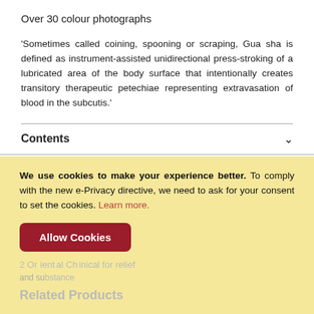Over 30 colour photographs
'Sometimes called coining, spooning or scraping, Gua sha is defined as instrument-assisted unidirectional press-stroking of a lubricated area of the body surface that intentionally creates transitory therapeutic petechiae representing extravasation of blood in the subcutis.'
Contents
Overview
We use cookies to make your experience better. To comply with the new e-Privacy directive, we need to ask for your consent to set the cookies. Learn more.